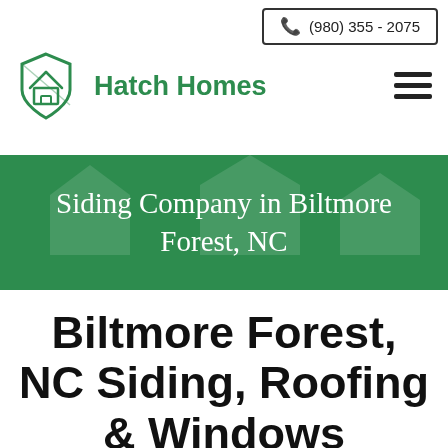(980) 355 - 2075
[Figure (logo): Hatch Homes green house logo with text 'Hatch Homes']
Siding Company in Biltmore Forest, NC
Biltmore Forest, NC Siding, Roofing & Windows Contractors